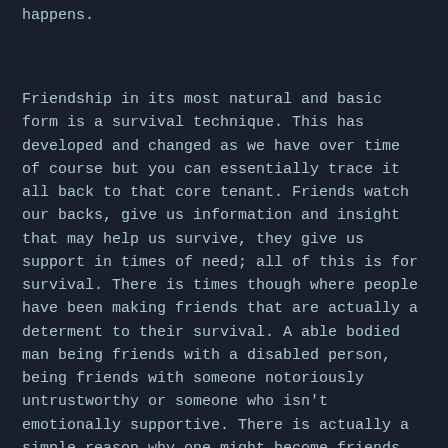happens.
Friendship in its most natural and basic form is a survival technique. This has developed and changed as we have over time of course but you can essentially trace it all back to that core tenant. Friends watch our backs, give us information and insight that may help us survive, they give us support in times of need; all of this is for survival. There is times though where people have been making friends that are actually a determent to their survival. A able bodied man being friends with a disabled person, being friends with someone notoriously untrustworthy or someone who isn't emotionally supportive. There is actually a simple reason why one might become friends with someone who isn't ideal for survival, Ideals and Ambitions